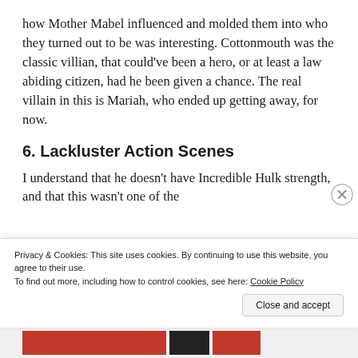how Mother Mabel influenced and molded them into who they turned out to be was interesting. Cottonmouth was the classic villian, that could've been a hero, or at least a law abiding citizen, had he been given a chance. The real villain in this is Mariah, who ended up getting away, for now.
6. Lackluster Action Scenes
I understand that he doesn't have Incredible Hulk strength, and that this wasn't one of the
Privacy & Cookies: This site uses cookies. By continuing to use this website, you agree to their use.
To find out more, including how to control cookies, see here: Cookie Policy
Close and accept